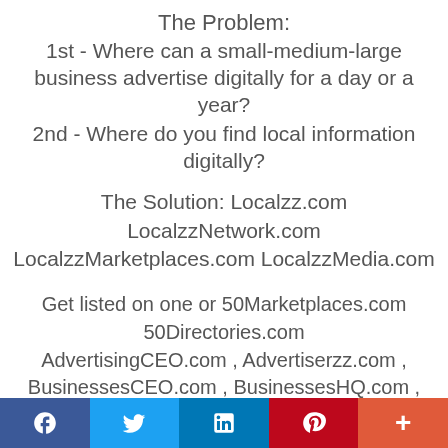The Problem:
1st - Where can a small-medium-large business advertise digitally for a day or a year?
2nd - Where do you find local information digitally?
The Solution: Localzz.com
LocalzzNetwork.com
LocalzzMarketplaces.com LocalzzMedia.com
Get listed on one or 50Marketplaces.com
50Directories.com
AdvertisingCEO.com , Advertiserzz.com ,
BusinessesCEO.com , BusinessesHQ.com ,
Businessezz.com , Communitiezz.com
[Figure (infographic): Social media share bar with Facebook, Twitter, LinkedIn, Pinterest, and More buttons]